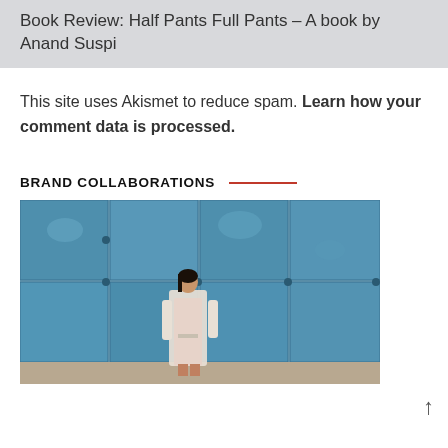Book Review: Half Pants Full Pants – A book by Anand Suspi
This site uses Akismet to reduce spam. Learn how your comment data is processed.
BRAND COLLABORATIONS
[Figure (photo): A woman in a white wrap coat over a red dress standing in front of a blue metal door/wall]